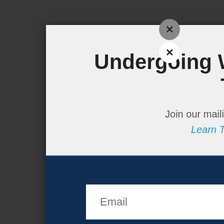[Figure (screenshot): Website popup/modal overlay for newsletter subscription. Modal has two sections: a light gray top with title 'Undergoing Website Updates and Transfer' and text about joining mailing list with link 'Learn Train Design by Doc Reo.', and a dark navy bottom with an Email input field and SUBSCRIBE! button. Two close (X) buttons appear at the top right. Background shows dimmed website content with diagonal stripe borders (red/white/navy).]